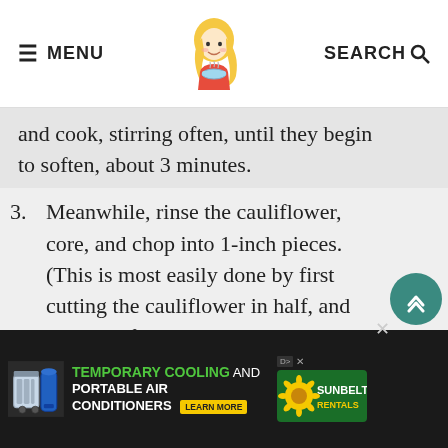≡ MENU | [logo] | SEARCH 🔍
and cook, stirring often, until they begin to soften, about 3 minutes.
3. Meanwhile, rinse the cauliflower, core, and chop into 1-inch pieces. (This is most easily done by first cutting the cauliflower in half, and then into fourths. Slice out the core, and cut the florets apart.)
4. Add the garlic to the pot with the leeks and cook, stirring, for 1 minute. Add the cauliflower and cook for 2 minutes to
[Figure (screenshot): Advertisement bar: Temporary Cooling and Portable Air Conditioners with Learn More button, Sunbelt Rentals logo]